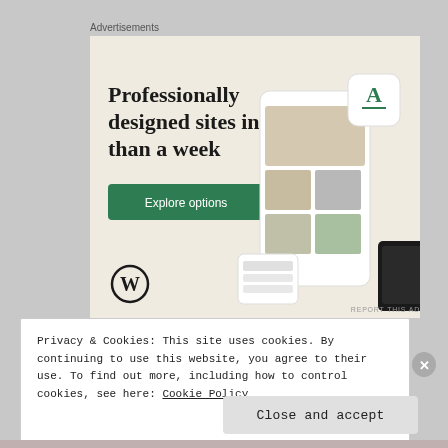Advertisements
[Figure (illustration): WordPress.com advertisement banner with beige background showing headline 'Professionally designed sites in less than a week', a green 'Explore options' button, WordPress logo, and mockup screenshots of website designs on phone screens.]
Privacy & Cookies: This site uses cookies. By continuing to use this website, you agree to their use. To find out more, including how to control cookies, see here: Cookie Policy
Close and accept